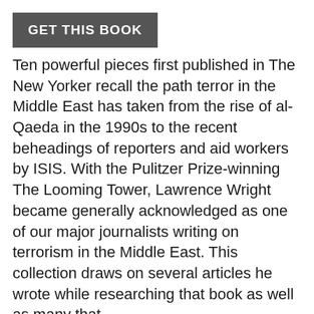GET THIS BOOK
Ten powerful pieces first published in The New Yorker recall the path terror in the Middle East has taken from the rise of al-Qaeda in the 1990s to the recent beheadings of reporters and aid workers by ISIS. With the Pulitzer Prize-winning The Looming Tower, Lawrence Wright became generally acknowledged as one of our major journalists writing on terrorism in the Middle East. This collection draws on several articles he wrote while researching that book as well as many that